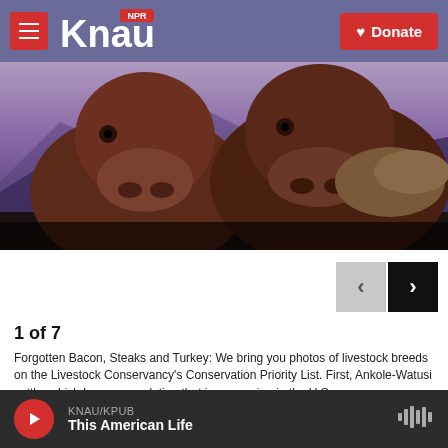KNAU NPR / Donate
[Figure (photo): Two brown Ankole-Watusi cattle photographed close-up, facing forward, against a blurred outdoor background with rocks and purple mountains]
1 of 7
Forgotten Bacon, Steaks and Turkey: We bring you photos of livestock breeds on the Livestock Conservancy's Conservation Priority List. First, Ankole-Watusi cattle, which have a population that is recovering in the U.S.
The Steller's sea cow, the passenger pigeon and the New Zealand moa all went extinct because
KNAU/KPUB – This American Life